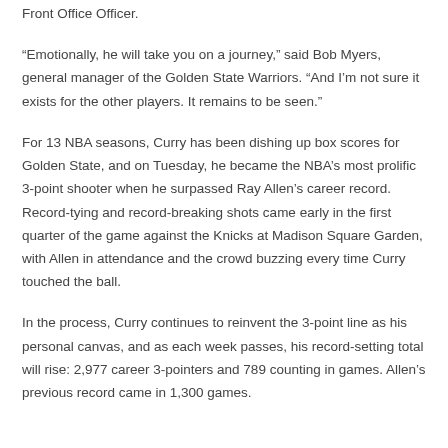Front Office Officer.
“Emotionally, he will take you on a journey,” said Bob Myers, general manager of the Golden State Warriors. “And I’m not sure it exists for the other players. It remains to be seen.”
For 13 NBA seasons, Curry has been dishing up box scores for Golden State, and on Tuesday, he became the NBA’s most prolific 3-point shooter when he surpassed Ray Allen’s career record. Record-tying and record-breaking shots came early in the first quarter of the game against the Knicks at Madison Square Garden, with Allen in attendance and the crowd buzzing every time Curry touched the ball.
In the process, Curry continues to reinvent the 3-point line as his personal canvas, and as each week passes, his record-setting total will rise: 2,977 career 3-pointers and 789 counting in games. Allen’s previous record came in 1,300 games.